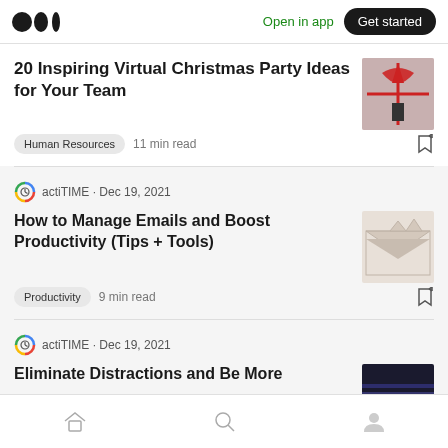Medium logo | Open in app | Get started
20 Inspiring Virtual Christmas Party Ideas for Your Team
Human Resources  11 min read
actiTIME · Dec 19, 2021
How to Manage Emails and Boost Productivity (Tips + Tools)
Productivity  9 min read
actiTIME · Dec 19, 2021
Eliminate Distractions and Be More
Home | Search | Profile